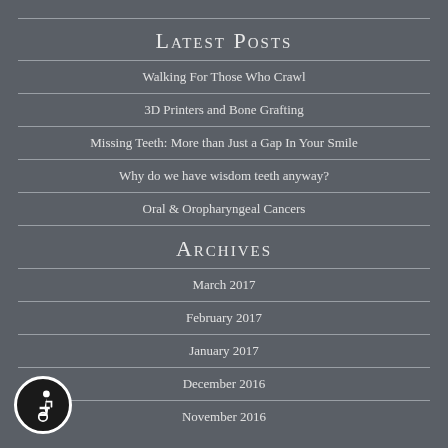Latest Posts
Walking For Those Who Crawl
3D Printers and Bone Grafting
Missing Teeth: More than Just a Gap In Your Smile
Why do we have wisdom teeth anyway?
Oral & Oropharyngeal Cancers
Archives
March 2017
February 2017
January 2017
December 2016
November 2016